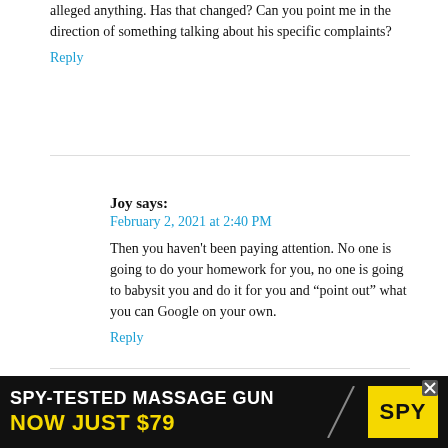alleged anything. Has that changed? Can you point me in the direction of something talking about his specific complaints?
Reply
Joy says:
February 2, 2021 at 2:40 PM
Then you haven't been paying attention. No one is going to do your homework for you, no one is going to babysit you and do it for you and “point out” what you can Google on your own.
Reply
Puck says:
February 2, 2021 at 3:56 PM
[Figure (other): Advertisement banner: SPY-TESTED MASSAGE GUN NOW JUST $79 with SPY logo on yellow background]